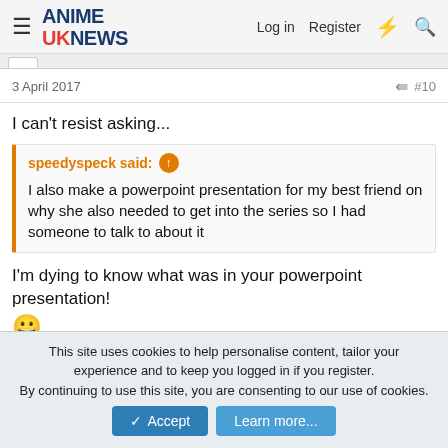ANIME UK NEWS  Log in  Register
3 April 2017  #10
I can't resist asking...
speedyspeck said: ↑  I also make a powerpoint presentation for my best friend on why she also needed to get into the series so I had someone to talk to about it
I'm dying to know what was in your powerpoint presentation! 😀
Reply
speedyspeck
This site uses cookies to help personalise content, tailor your experience and to keep you logged in if you register. By continuing to use this site, you are consenting to our use of cookies.